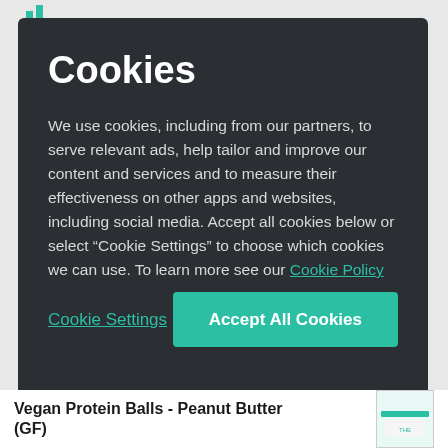Cookies
We use cookies, including from our partners, to serve relevant ads, help tailor and improve our content and services and to measure their effectiveness on other apps and websites, including social media. Accept all cookies below or select “Cookie Settings” to choose which cookies we can use. To learn more see our Cookie Policy
Cookie Settings
Accept All Cookies
Vegan Protein Balls - Peanut Butter (GF)